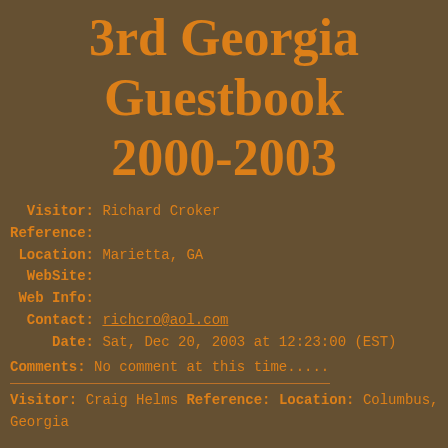3rd Georgia Guestbook 2000-2003
Visitor: Richard Croker
Reference:
Location: Marietta, GA
WebSite:
Web Info:
Contact: richcro@aol.com
Date: Sat, Dec 20, 2003 at 12:23:00 (EST)
Comments: No comment at this time.....
Visitor: Craig Helms
Reference:
Location: Columbus, Georgia